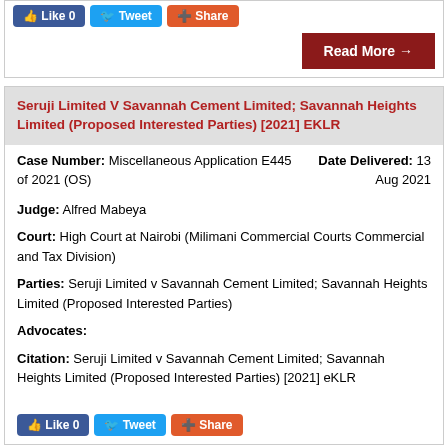[Figure (screenshot): Social sharing buttons: Like 0, Tweet, Share]
[Figure (screenshot): Read More button with arrow]
Seruji Limited V Savannah Cement Limited; Savannah Heights Limited (Proposed Interested Parties) [2021] EKLR
Case Number: Miscellaneous Application E445 of 2021 (OS)
Date Delivered: 13 Aug 2021
Judge: Alfred Mabeya
Court: High Court at Nairobi (Milimani Commercial Courts Commercial and Tax Division)
Parties: Seruji Limited v Savannah Cement Limited; Savannah Heights Limited (Proposed Interested Parties)
Advocates:
Citation: Seruji Limited v Savannah Cement Limited; Savannah Heights Limited (Proposed Interested Parties) [2021] eKLR
[Figure (screenshot): Social sharing buttons: Like 0, Tweet, Share]